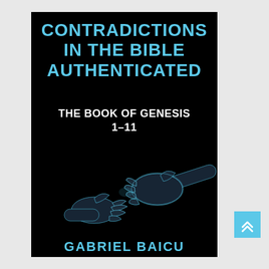[Figure (illustration): Book cover for 'Contradictions in the Bible Authenticated: The Book of Genesis 1-11' by Gabriel Baicu. Black background with blue glowing hands reaching toward each other (reminiscent of Michelangelo's Creation of Adam). Title in bold cyan/blue font at top, subtitle in white, author name in cyan at bottom.]